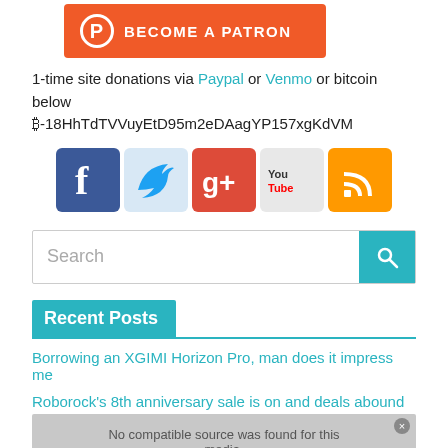[Figure (other): Become a Patron button with orange background and white text]
1-time site donations via Paypal or Venmo or bitcoin below ₿-18HhTdTVVuyEtD95m2eDAagYP157xgKdVM
[Figure (other): Social media icons: Facebook, Twitter, Google+, YouTube, RSS]
Search
Recent Posts
Borrowing an XGIMI Horizon Pro, man does it impress me
Roborock's 8th anniversary sale is on and deals abound
[Figure (other): Video placeholder showing 'No compatible source was found for this media.']